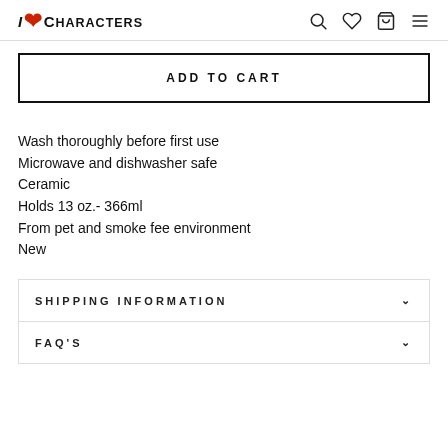I ❤ Characters
ADD TO CART
Wash thoroughly before first use
Microwave and dishwasher safe
Ceramic
Holds 13 oz.- 366ml
From pet and smoke fee environment
New
SHIPPING INFORMATION
FAQ'S